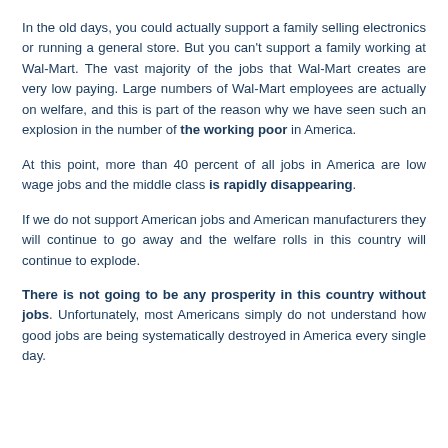In the old days, you could actually support a family selling electronics or running a general store. But you can't support a family working at Wal-Mart. The vast majority of the jobs that Wal-Mart creates are very low paying. Large numbers of Wal-Mart employees are actually on welfare, and this is part of the reason why we have seen such an explosion in the number of the working poor in America.
At this point, more than 40 percent of all jobs in America are low wage jobs and the middle class is rapidly disappearing.
If we do not support American jobs and American manufacturers they will continue to go away and the welfare rolls in this country will continue to explode.
There is not going to be any prosperity in this country without jobs. Unfortunately, most Americans simply do not understand how good jobs are being systematically destroyed in America every single day.